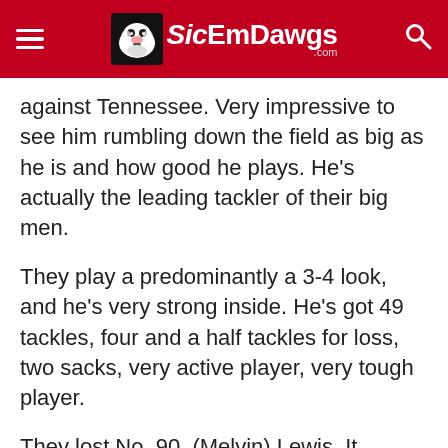SicEmDawgs.com
against Tennessee. Very impressive to see him rumbling down the field as big as he is and how good he plays. He's actually the leading tackler of their big men.
They play a predominantly a 3-4 look, and he's very strong inside. He's got 49 tackles, four and a half tackles for loss, two sacks, very active player, very tough player.
They lost No. 90, (Melvin) Lewis. It sounds like they lost him maybe for the rest of the season. Really, really fine football player, big nose guard type of guy that you've got to have to run this type of 3-4 scheme, and I'd think they'd be in trouble in that